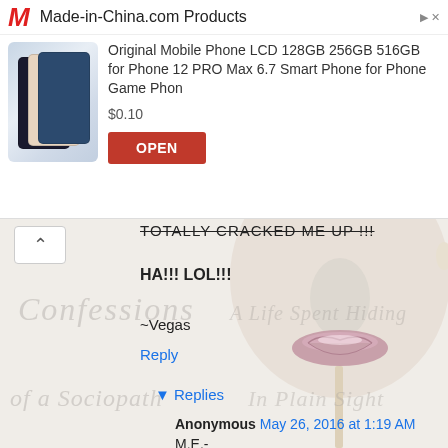[Figure (screenshot): Advertisement banner for Made-in-China.com showing a mobile phone product listing with price $0.10 and an OPEN button]
TOTALLY CRACKED ME UP !!!
HA!!! LOL!!!
~Vegas
Reply
▾ Replies
Anonymous May 26, 2016 at 1:19 AM
M.E.-
Your retweet of Helen Hunt's tweet:
"Ordered my drink @Starbucks Asked the barista if she wanted my name. She winked and said. "We gotcha" #JodieFoster"...
[Figure (illustration): Book cover illustration showing a face (nose and lips visible) with the text CONFESSIONS OF A SOCIOPATH and A LIFE SPENT HIDING IN PLAIN SIGHT in light gray overlay]